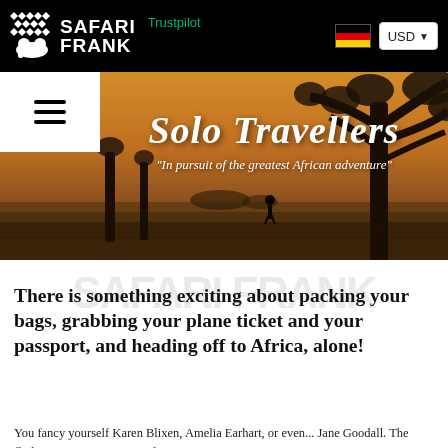Safari Frank | Trustpilot | USD
[Figure (photo): Hero banner photo of an African savanna at dusk with a large tree silhouette and a lone person standing in the landscape, warm amber/golden tones]
Solo Travellers
"In pursuit of the greatest African adventure"
There is something exciting about packing your bags, grabbing your plane ticket and your passport, and heading off to Africa, alone!
You fancy yourself Karen Blixen, Amelia Earhart, or even... Jane Goodall. The flight gives you time to jot down notes